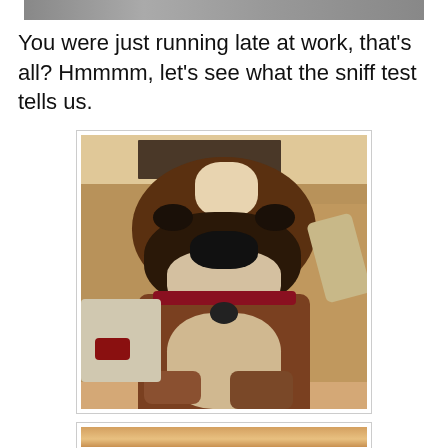[Figure (photo): Partial cropped image at very top of page, appears to be top portion of a previous image]
You were just running late at work, that's all? Hmmmm, let's see what the sniff test tells us.
[Figure (photo): A boxer dog sitting on a tan/beige couch, looking directly at the camera with an inquisitive expression. The dog has a dark brown and white face with a black muzzle. There is a stuffed toy visible near the dog.]
[Figure (photo): Partial view of another photo at the bottom of the page, appears to show a warm-toned scene, partially cut off]